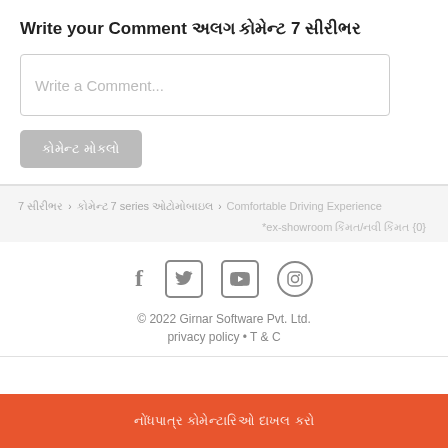Write your Comment ввести коментар 7 серія
[Figure (screenshot): Comment text input box with placeholder 'Write a Comment...']
[Figure (screenshot): Gray submit button with Gujarati/Hindi text]
7 серія › коментар 7 series автомобільний › Comfortable Driving Experience
*ex-showroom місто/нове місто {0}
[Figure (infographic): Social media icons: Facebook, Twitter, YouTube, Instagram]
© 2022 Girnar Software Pvt. Ltd.
privacy policy • T & C
коментувати автомобільний пропозиції